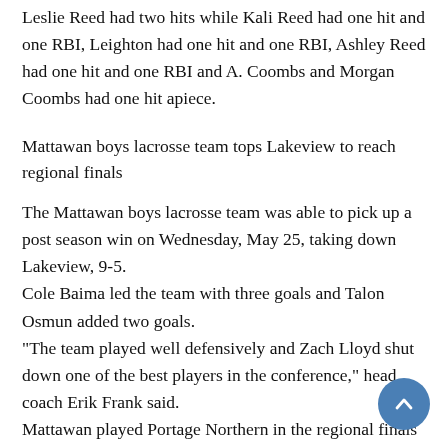Leslie Reed had two hits while Kali Reed had one hit and one RBI, Leighton had one hit and one RBI, Ashley Reed had one hit and one RBI and A. Coombs and Morgan Coombs had one hit apiece.
Mattawan boys lacrosse team tops Lakeview to reach regional finals
The Mattawan boys lacrosse team was able to pick up a post season win on Wednesday, May 25, taking down Lakeview, 9-5.
Cole Baima led the team with three goals and Talon Osmun added two goals.
"The team played well defensively and Zach Lloyd shut down one of the best players in the conference," head coach Erik Frank said.
Mattawan played Portage Northern in the regional finals on Tuesday.